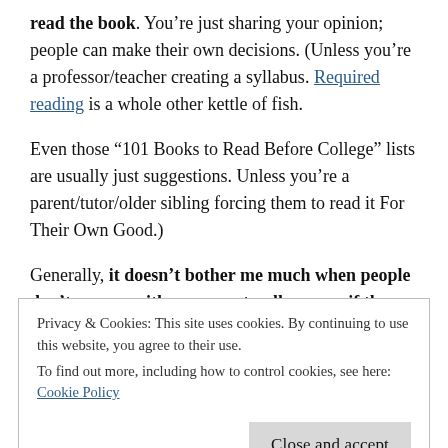read the book. You're just sharing your opinion; people can make their own decisions. (Unless you're a professor/teacher creating a syllabus. Required reading is a whole other kettle of fish.
Even those “101 Books to Read Before College” lists are usually just suggestions. Unless you’re a parent/tutor/older sibling forcing them to read it For Their Own Good.)
Generally, it doesn’t bother me much when people don’t engage with my open-to-all recs, or if they try but don’t
Privacy & Cookies: This site uses cookies. By continuing to use this website, you agree to their use.
To find out more, including how to control cookies, see here: Cookie Policy
They weren’t personal recommendations, so I find it easier